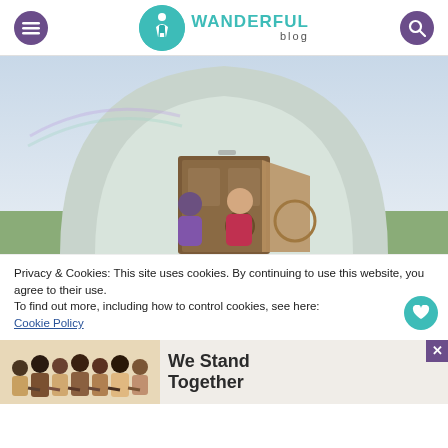Wanderful blog
[Figure (photo): A couple smiling in front of a large arch-shaped glamping pod with a wooden door, outdoors in a field.]
Privacy & Cookies: This site uses cookies. By continuing to use this website, you agree to their use. To find out more, including how to control cookies, see here: Cookie Policy
[Figure (photo): Advertisement banner showing a group of people standing together with text 'We Stand Together']